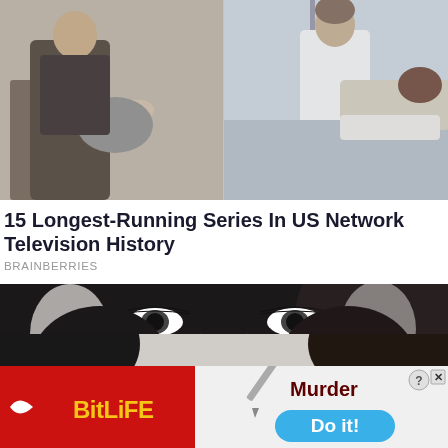[Figure (photo): Two-panel TV scene image: left panel shows two people with grey fabric/sheet, right panel shows person in white coat with another person on a bed]
15 Longest-Running Series In US Network Television History
BRAINBERRIES
[Figure (photo): Close-up black and white photo of a woman with dramatic eye makeup, curly dark hair, wearing a fur-trimmed hood]
[Figure (other): Advertisement banner split into two: left side is red with BitLife logo (sperm icon and yellow text), right side shows 'Murder' text and 'Do it!' blue button with close/help buttons in corner]